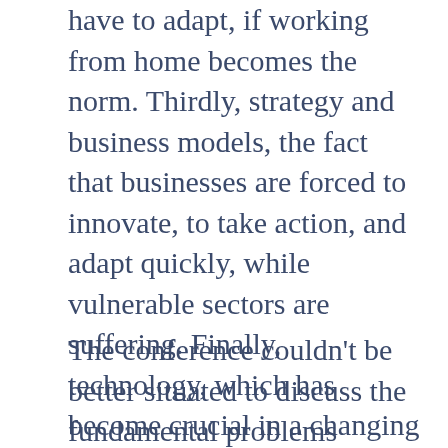have to adapt, if working from home becomes the norm. Thirdly, strategy and business models, the fact that businesses are forced to innovate, to take action, and adapt quickly, while vulnerable sectors are suffering. Finally, technology, which has become crucial in a changing world, and which is also creating a lot of fear and concerns along the way.
The conference couldn't be better situated to discuss the fundamental problems created by the pandemic. Last year's edition brought